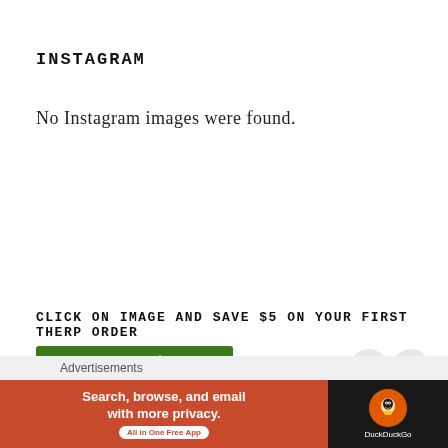INSTAGRAM
No Instagram images were found.
CLICK ON IMAGE AND SAVE $5 ON YOUR FIRST THERP ORDER
[Figure (other): Green button with white dots]
[Figure (other): Close and up arrow circular buttons overlay]
Advertisements
[Figure (other): DuckDuckGo advertisement banner: Search, browse, and email with more privacy. All in One Free App]